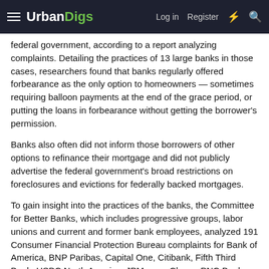UrbanDigs — Log in | Register
federal government, according to a report analyzing complaints. Detailing the practices of 13 large banks in those cases, researchers found that banks regularly offered forbearance as the only option to homeowners — sometimes requiring balloon payments at the end of the grace period, or putting the loans in forbearance without getting the borrower's permission.
Banks also often did not inform those borrowers of other options to refinance their mortgage and did not publicly advertise the federal government's broad restrictions on foreclosures and evictions for federally backed mortgages.
To gain insight into the practices of the banks, the Committee for Better Banks, which includes progressive groups, labor unions and current and former bank employees, analyzed 191 Consumer Financial Protection Bureau complaints for Bank of America, BNP Paribas, Capital One, Citibank, Fifth Third Bank, HSBC North America, JPMorgan Chase, PNC Bank, Santander, TD Bank, Truist Bank, US Bank and Wells Fargo.
As a do...for JPMorgan Chase said the bank had attention...